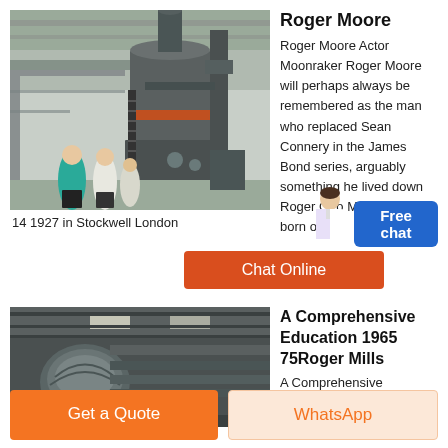[Figure (photo): Industrial machinery interior with large grey mill/grinder equipment, two workers in teal and white shirts visible, warehouse/factory setting]
14 1927 in Stockwell London
Roger Moore
Roger Moore Actor Moonraker Roger Moore will perhaps always be remembered as the man who replaced Sean Connery in the James Bond series, arguably something he lived down Roger Geo Moore was born on Oc
[Figure (photo): Industrial facility interior showing large curved metal ventilation ducts, yellow safety railings/cage structures, grey metal ceiling]
A Comprehensive Education 1965 75Roger Mills
A Comprehensive Education